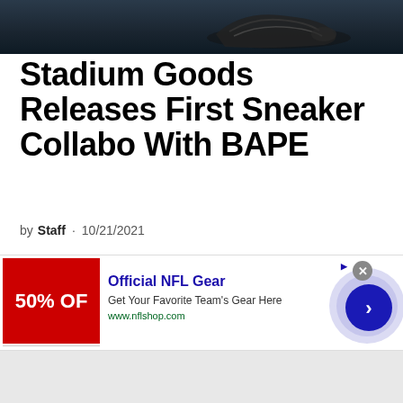[Figure (photo): Dark background hero image showing a sneaker on a dark surface]
Stadium Goods Releases First Sneaker Collabo With BAPE
by Staff · 10/21/2021
Renowned sneaker/streetwear brand Stadium Goods has just announced their very first partnership with BAPE for special branded editions...
[Figure (infographic): Advertisement banner: Official NFL Gear - Get Your Favorite Team's Gear Here - www.nflshop.com - with red 50% OFF image and navigation arrow]